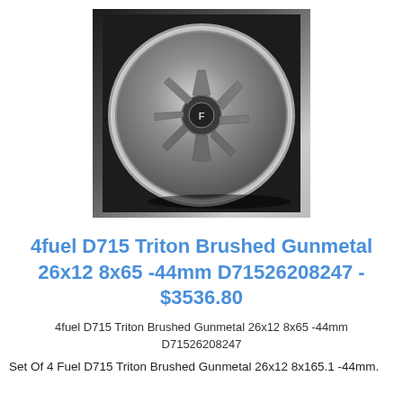[Figure (photo): A silver/gunmetal brushed aluminum car/truck wheel (Fuel D715 Triton) photographed against a dark background, viewed at a slight angle showing the spoke pattern and polished lip.]
4fuel D715 Triton Brushed Gunmetal 26x12 8x65 -44mm D71526208247 - $3536.80
4fuel D715 Triton Brushed Gunmetal 26x12 8x65 -44mm D71526208247
Set Of 4 Fuel D715 Triton Brushed Gunmetal 26x12 8x165.1 -44mm.